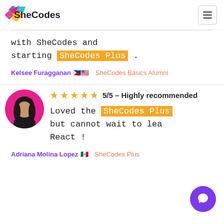SheCodes
with SheCodes and starting SheCodes Plus.
Kelsee Furagganan 🇵🇭🇺🇸  SheCodes Basics Alumni
[Figure (photo): Avatar photo of Adriana Molina Lopez with pink background circle]
5/5 – Highly recommended
Loved the SheCodes Plus but cannot wait to learn React !
Adriana Molina Lopez 🇲🇽  SheCodes Plus